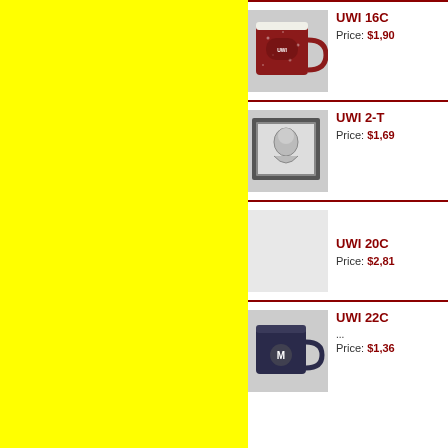[Figure (photo): Red speckled coffee mug with logo, item UWI 16C]
UWI 16C
Price: $1,90
[Figure (photo): Framed black and white portrait artwork, item UWI 2-T]
UWI 2-T
Price: $1,69
UWI 20C
Price: $2,81
[Figure (photo): Dark navy blue coffee mug with M logo, item UWI 22C]
UWI 22C
...
Price: $1,36